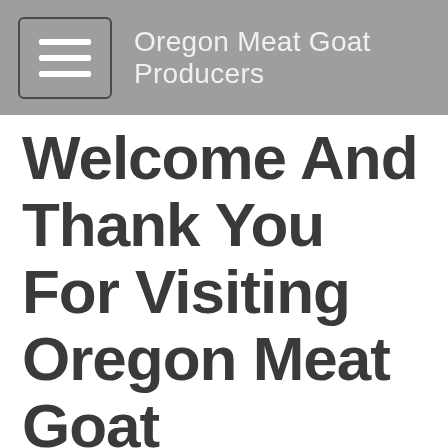Oregon Meat Goat Producers
Welcome And Thank You For Visiting Oregon Meat Goat Producers.
[Figure (illustration): Partial illustration of a goat outline (black line drawing), cropped at bottom of page]